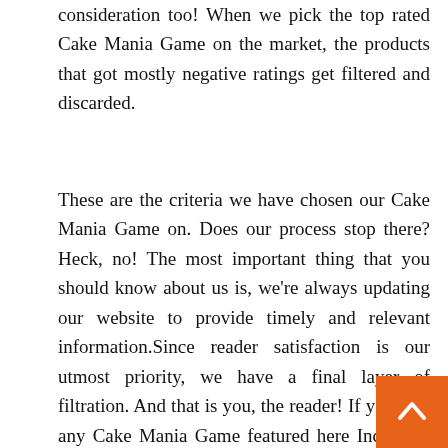consideration too! When we pick the top rated Cake Mania Game on the market, the products that got mostly negative ratings get filtered and discarded.
These are the criteria we have chosen our Cake Mania Game on. Does our process stop there? Heck, no! The most important thing that you should know about us is, we're always updating our website to provide timely and relevant information.Since reader satisfaction is our utmost priority, we have a final layer of filtration. And that is you, the reader! If you find any Cake Mania Game featured here Incorrect, irrele... not up to the mark, or simply outdated, please let